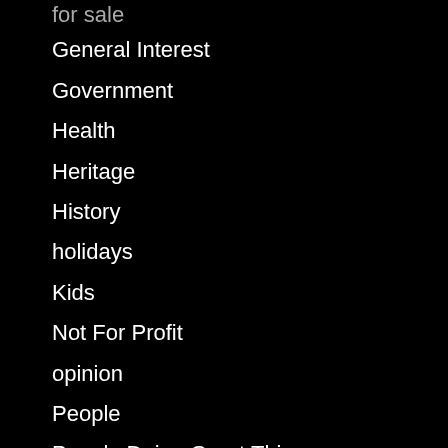for sale
General Interest
Government
Health
Heritage
History
holidays
Kids
Not For Profit
opinion
People
People Doing Great Things
Politics
Real Estate News
safety